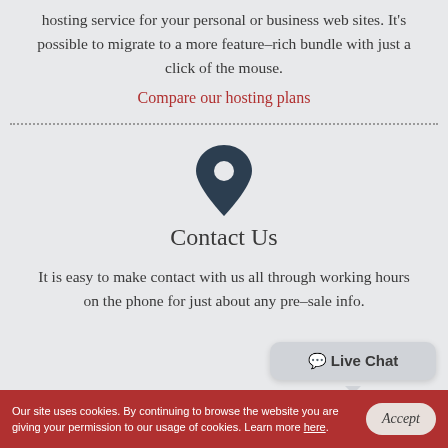hosting service for your personal or business web sites. It's possible to migrate to a more feature–rich bundle with just a click of the mouse.
Compare our hosting plans
[Figure (illustration): Map pin / location marker icon in dark navy color]
Contact Us
It is easy to make contact with us all through working hours on the phone for just about any pre–sale info.
[Figure (other): Live Chat speech bubble button in grey]
Our site uses cookies. By continuing to browse the website you are giving your permission to our usage of cookies. Learn more here.